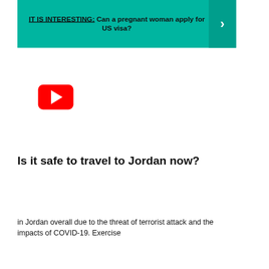[Figure (infographic): Teal/green banner with bold text reading 'IT IS INTERESTING: Can a pregnant woman apply for US visa?' with a right-arrow chevron on the right side on a darker teal background]
[Figure (screenshot): YouTube play button icon — red rounded rectangle with white triangle play arrow]
Is it safe to travel to Jordan now?
in Jordan overall due to the threat of terrorist attack and the impacts of COVID-19. Exercise